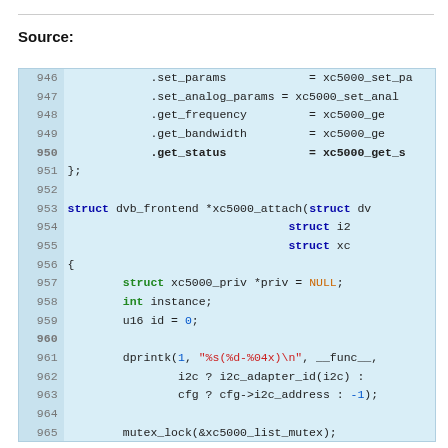Source:
[Figure (screenshot): Source code listing showing C code for xc5000 tuner driver, lines 946-970, with syntax highlighting. Keywords in blue/green, string literals in red, line numbers on left.]